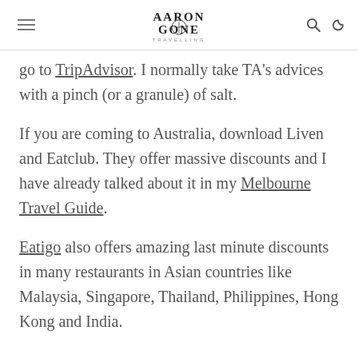Aaron Gone Travelling — navigation header
go to TripAdvisor. I normally take TA's advices with a pinch (or a granule) of salt.
If you are coming to Australia, download Liven and Eatclub. They offer massive discounts and I have already talked about it in my Melbourne Travel Guide.
Eatigo also offers amazing last minute discounts in many restaurants in Asian countries like Malaysia, Singapore, Thailand, Philippines, Hong Kong and India.